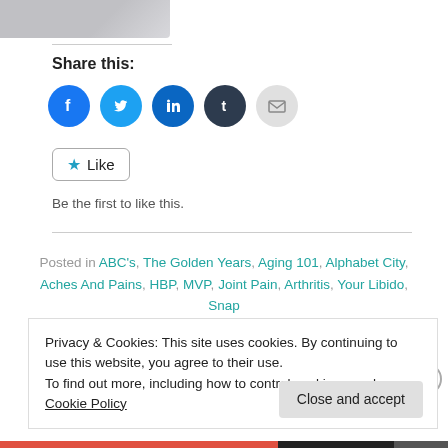[Figure (photo): Partial photo of a person at top left corner]
Share this:
[Figure (infographic): Social sharing icons: Facebook, Twitter, LinkedIn, Tumblr, Email]
Like
Be the first to like this.
Posted in ABC's, The Golden Years, Aging 101, Alphabet City, Aches And Pains, HBP, MVP, Joint Pain, Arthritis, Your Libido, Snap Crackle Pop, Pinched Nerves, Pain Meds, Sleepless Nights,
Privacy & Cookies: This site uses cookies. By continuing to use this website, you agree to their use.
To find out more, including how to control cookies, see here: Cookie Policy
Close and accept